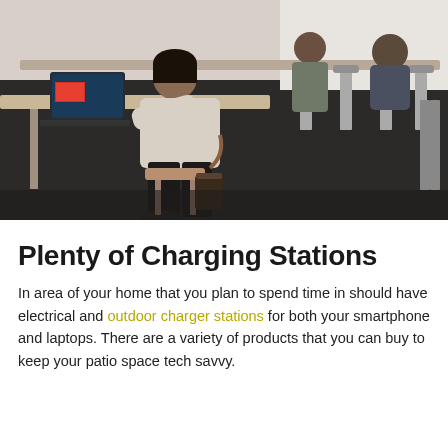[Figure (photo): Students or people sitting at high tables/bar stools in a cafeteria or library, working on laptops. A person in a light jacket is prominent in the foreground, with a bag hanging on her chair. Dark floor tiles visible.]
Plenty of Charging Stations
In area of your home that you plan to spend time in should have electrical and outdoor charger stations for both your smartphone and laptops. There are a variety of products that you can buy to keep your patio space tech savvy.